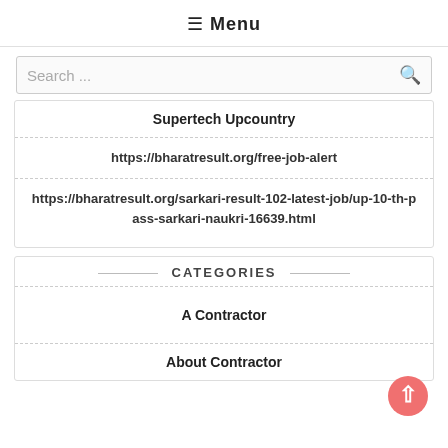≡ Menu
Search ...
Supertech Upcountry
https://bharatresult.org/free-job-alert
https://bharatresult.org/sarkari-result-102-latest-job/up-10-th-pass-sarkari-naukri-16639.html
CATEGORIES
A Contractor
About Contractor